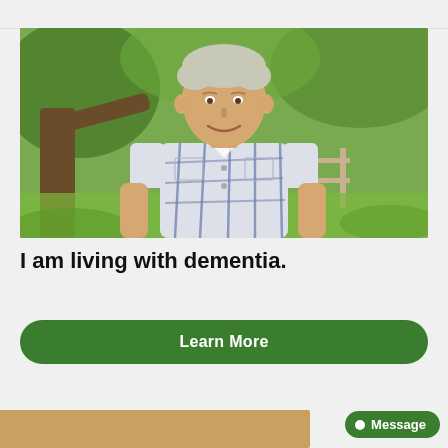[Figure (photo): Elderly man smiling outdoors in a park setting with trees and a wooden fence in background, wearing a plaid short-sleeve shirt]
I am living with dementia.
Learn More
Message